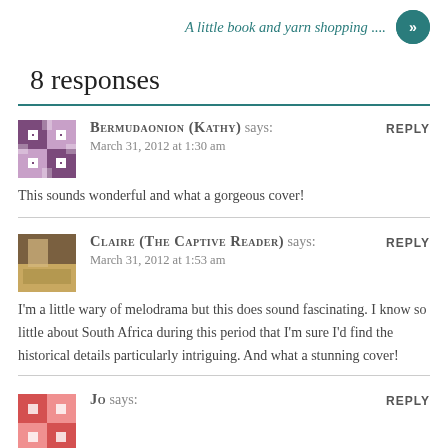A little book and yarn shopping ....
8 responses
BERMUDAONION (KATHY) says:
March 31, 2012 at 1:30 am
REPLY
This sounds wonderful and what a gorgeous cover!
CLAIRE (THE CAPTIVE READER) says:
March 31, 2012 at 1:53 am
REPLY
I'm a little wary of melodrama but this does sound fascinating. I know so little about South Africa during this period that I'm sure I'd find the historical details particularly intriguing. And what a stunning cover!
JO says:
REPLY